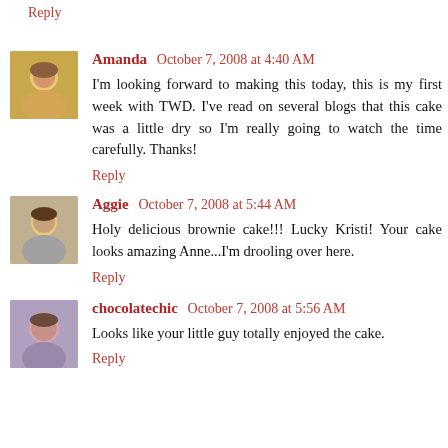Reply
Amanda   October 7, 2008 at 4:40 AM
I'm looking forward to making this today, this is my first week with TWD. I've read on several blogs that this cake was a little dry so I'm really going to watch the time carefully. Thanks!
Reply
Aggie   October 7, 2008 at 5:44 AM
Holy delicious brownie cake!!! Lucky Kristi! Your cake looks amazing Anne...I'm drooling over here.
Reply
chocolatechic   October 7, 2008 at 5:56 AM
Looks like your little guy totally enjoyed the cake.
Reply